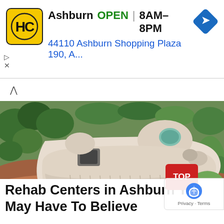[Figure (screenshot): Advertisement banner for HC (Hardee's/similar) store in Ashburn showing OPEN status, hours 8AM-8PM, address 44110 Ashburn Shopping Plaza 190 A..., with yellow HC logo and blue navigation diamond icon]
[Figure (photo): Aerial view of a large organic-shaped cream/white building complex with rounded dome-like structures surrounded by trees, red paths, and green lawns]
Rehab Centers in Ashburn You May Have To Believe